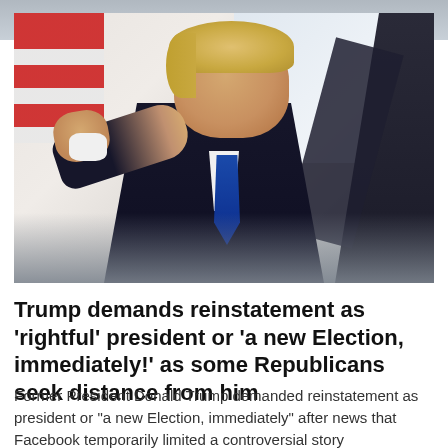[Figure (photo): Photograph of former President Donald Trump in a dark suit with a blue tie, pointing toward the camera with his right hand. An American flag is visible in the upper left background. The bottom of the image has a blurred/darkened gradient overlay.]
Trump demands reinstatement as 'rightful' president or 'a new Election, immediately!' as some Republicans seek distance from him
Former President Donald Trump demanded reinstatement as president or "a new Election, immediately" after news that Facebook temporarily limited a controversial story about H...